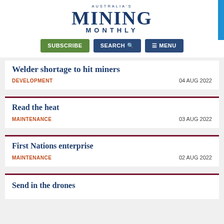AUSTRALIA'S MINING MONTHLY
SUBSCRIBE | SEARCH | MENU
Welder shortage to hit miners
DEVELOPMENT   04 AUG 2022
Read the heat
MAINTENANCE   03 AUG 2022
First Nations enterprise
MAINTENANCE   02 AUG 2022
Send in the drones